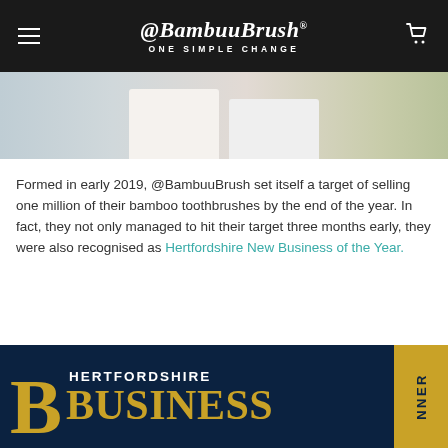@BambuuBrush® ONE SIMPLE CHANGE
[Figure (photo): Cropped bottom portion of a photo showing people against a light blue/grey background with some foliage visible on the right side.]
Formed in early 2019, @BambuuBrush set itself a target of selling one million of their bamboo toothbrushes by the end of the year. In fact, they not only managed to hit their target three months early, they were also recognised as Hertfordshire New Business of the Year.
[Figure (photo): Hertfordshire Business award image with dark navy background showing large gold letter B, 'HERTFORDSHIRE' text in white, 'BUSINESS' in gold lettering, and a gold banner on the right side with 'WINNER' text written vertically.]